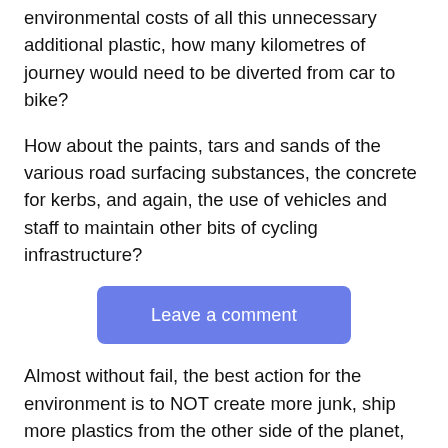environmental costs of all this unnecessary additional plastic, how many kilometres of journey would need to be diverted from car to bike?
How about the paints, tars and sands of the various road surfacing substances, the concrete for kerbs, and again, the use of vehicles and staff to maintain other bits of cycling infrastructure?
[Figure (other): A blue rounded-rectangle button labelled 'Leave a comment']
Almost without fail, the best action for the environment is to NOT create more junk, ship more plastics from the other side of the planet, spend more money, have more people driving around the place installing and maintaining and moving objects around the city.
But solutions is additionally predicated ??? updated